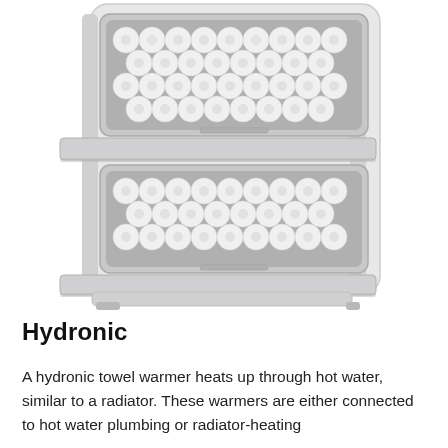[Figure (photo): A white towel warmer cabinet with two open compartments, each filled with neatly rolled white towels. The doors are open revealing stainless steel interior trays. The appliance has a modern, boxy design.]
Hydronic
A hydronic towel warmer heats up through hot water, similar to a radiator. These warmers are either connected to hot water plumbing or radiator-heating